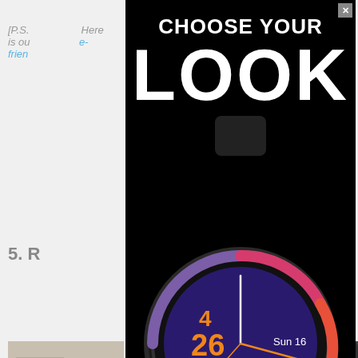[P.S. ... Here is ou... -frien...
5. R...
[Figure (screenshot): Advertisement overlay on a webpage. Black background ad showing 'CHOOSE YOUR LOOK FOR PRAYER TIMES' with a smartwatch displaying prayer time app: showing time with clock hands, date Sun 16, time 4:26, prayer name Asr, location New York USA, with colorful arc on watch face (purple, red, orange gradient). Below is an Anantara luxury resort banner ad saying 'RETREAT IN A LUXURIOUS POOL VILLA'.]